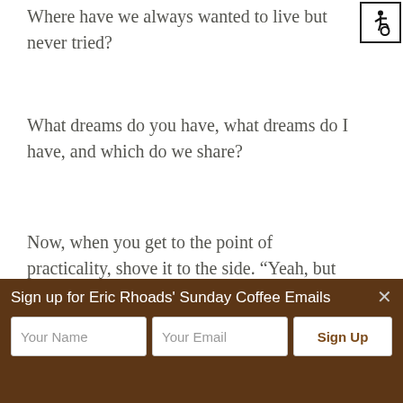[Figure (illustration): Accessibility icon — wheelchair symbol in a bordered square, top-right corner]
Where have we always wanted to live but never tried?
What dreams do you have, what dreams do I have, and which do we share?
Now, when you get to the point of practicality, shove it to the side. “Yeah, but we can’t afford that dream” is a common thing that gets in the way.
Dreams Overcome Roadblocks
Sign up for Eric Rhoads' Sunday Coffee Emails
Your Name
Your Email
Sign Up